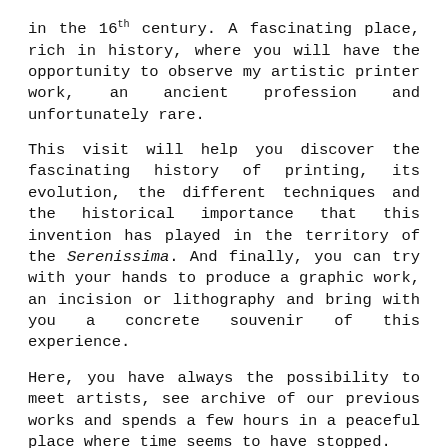in the 16th century. A fascinating place, rich in history, where you will have the opportunity to observe my artistic printer work, an ancient profession and unfortunately rare.
This visit will help you discover the fascinating history of printing, its evolution, the different techniques and the historical importance that this invention has played in the territory of the Serenissima. And finally, you can try with your hands to produce a graphic work, an incision or lithography and bring with you a concrete souvenir of this experience.
Here, you have always the possibility to meet artists, see archive of our previous works and spends a few hours in a peaceful place where time seems to have stopped.